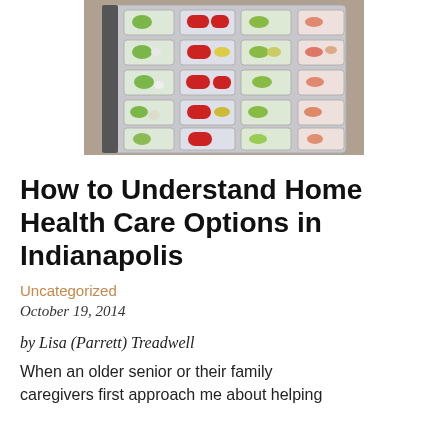[Figure (photo): A weekly pill organizer tray with multiple compartments containing various colored pills and capsules — red, green, white, yellow, and pink — arranged in rows on a grey surface.]
How to Understand Home Health Care Options in Indianapolis
Uncategorized
October 19, 2014
by Lisa (Parrett) Treadwell
When an older senior or their family caregivers first approach me about helping